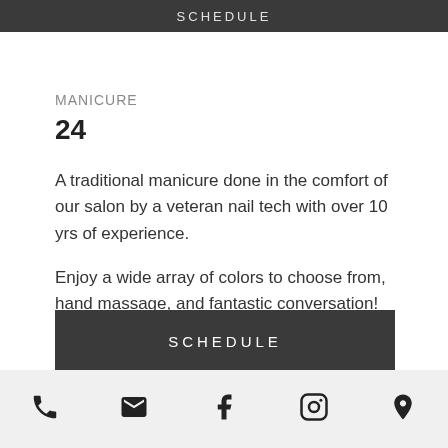SCHEDULE
MANICURE
24
A traditional manicure done in the comfort of our salon by a veteran nail tech with over 10 yrs of experience.
Enjoy a wide array of colors to choose from, hand massage, and fantastic conversation!
SCHEDULE
[Figure (infographic): Footer bar with phone, email, Facebook, Instagram, and location icons]